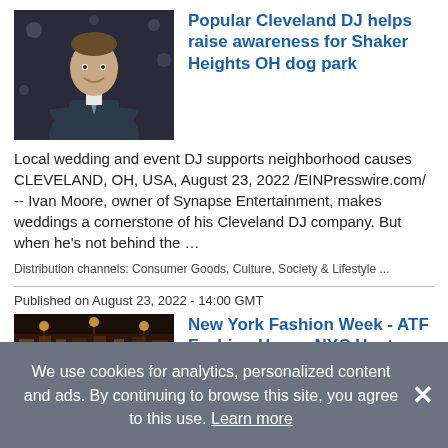[Figure (photo): Photo of a man in a suit smiling with arms crossed]
Popular Cleveland DJ helps raise awareness for Shaker Heights OH dog park
Local wedding and event DJ supports neighborhood causes CLEVELAND, OH, USA, August 23, 2022 /EINPresswire.com/ -- Ivan Moore, owner of Synapse Entertainment, makes weddings a cornerstone of his Cleveland DJ company. But when he's not behind the …
Distribution channels: Consumer Goods, Culture, Society & Lifestyle ...
Published on August 23, 2022 - 14:00 GMT
[Figure (photo): Photo of an elegant restaurant interior set for a formal event]
New York Fashion Week - ATF Fashion House NYC Hosts a Black Tie Gala at LAVO, Sept 12
This New York Fashion Company takes a disruptive approach to help Designers and Brands Connect with Fashion Buyers during
We use cookies for analytics, personalized content and ads. By continuing to browse this site, you agree to this use. Learn more